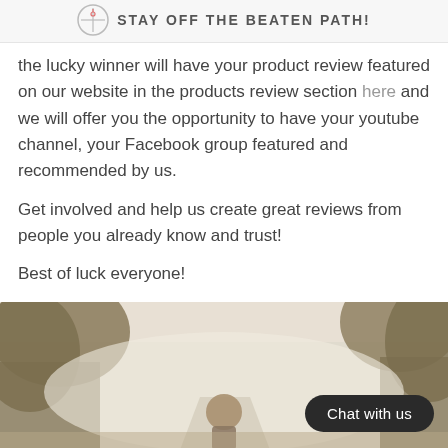STAY OFF THE BEATEN PATH!
the lucky winner will have your product review featured on our website in the products review section here and we will offer you the opportunity to have your youtube channel, your Facebook group featured and recommended by us.
Get involved and help us create great reviews from people you already know and trust!
Best of luck everyone!
[Figure (photo): Outdoor nature photo showing a person from behind, surrounded by trees and misty landscape, with a 'Chat with us' button overlay in the bottom right corner.]